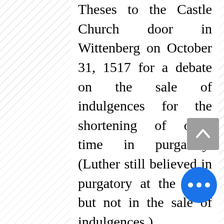Theses to the Castle Church door in Wittenberg on October 31, 1517 for a debate on the sale of indulgences for the shortening of one's time in purgatory. (Luther still believed in purgatory at the time, but not in the sale of indulgences.)

What follows is my Lutheran reply to some of the Catholic points raises beginning with his